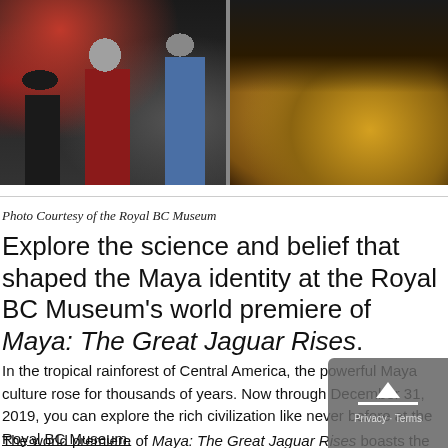[Figure (photo): Two-panel photo. Left panel: museum visitors, including a person in a red top, viewed from behind, looking at exhibits in a dark gallery. Right panel: an illuminated display case or artifact with warm orange and golden tones, viewed in a dark museum setting.]
Photo Courtesy of the Royal BC Museum
Explore the science and belief that shaped the Maya identity at the Royal BC Museum's world premiere of Maya: The Great Jaguar Rises.
In the tropical rainforest of Central America, the powerful Maya culture rose for thousands of years. Now through December 31, 2019, you can explore the rich civilization like never before at the Royal BC Museum.
The world premiere of Maya: The Great Jaguar Rises boasts the